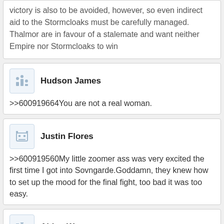victory is also to be avoided, however, so even indirect aid to the Stormcloaks must be carefully managed. Thalmor are in favour of a stalemate and want neither Empire nor Stormcloaks to win
Hudson James
>>600919664You are not a real woman.
Justin Flores
>>600919560My little zoomer ass was very excited the first time I got into Sovngarde.Goddamn, they knew how to set up the mood for the final fight, too bad it was too easy.
Aiden Watson
>>600919664is so